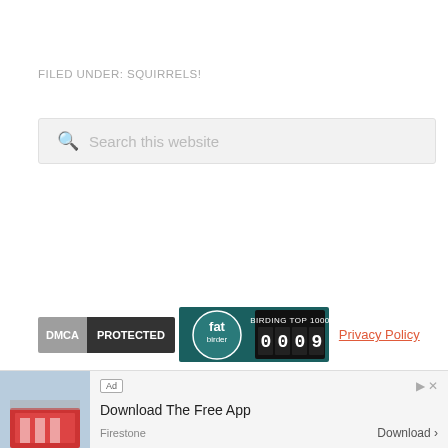FILED UNDER: SQUIRRELS!
[Figure (screenshot): Search box with magnifying glass icon and placeholder text 'Search this website']
[Figure (screenshot): DMCA Protected badge, Birding Top 1000 badge showing rank 0009, and Privacy Policy link]
[Figure (screenshot): Ad bar at bottom: Firestone ad with 'Download The Free App' and Download button]